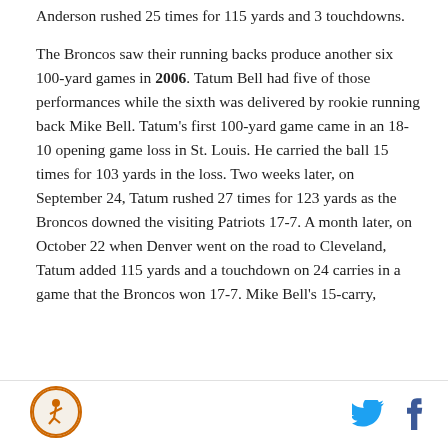Anderson rushed 25 times for 115 yards and 3 touchdowns.
The Broncos saw their running backs produce another six 100-yard games in 2006. Tatum Bell had five of those performances while the sixth was delivered by rookie running back Mike Bell. Tatum's first 100-yard game came in an 18-10 opening game loss in St. Louis. He carried the ball 15 times for 103 yards in the loss. Two weeks later, on September 24, Tatum rushed 27 times for 123 yards as the Broncos downed the visiting Patriots 17-7. A month later, on October 22 when Denver went on the road to Cleveland, Tatum added 115 yards and a touchdown on 24 carries in a game that the Broncos won 17-7. Mike Bell's 15-carry,
[Figure (logo): Sports website logo - circular icon with athlete figure]
[Figure (other): Twitter bird icon in cyan blue]
[Figure (other): Facebook 'f' icon in dark blue]